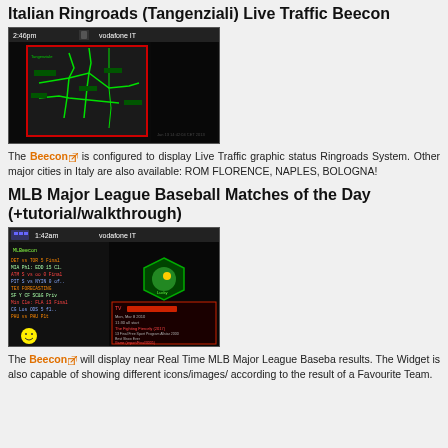Italian Ringroads (Tangenziali) Live Traffic Beecon
[Figure (screenshot): Screenshot of a mobile phone displaying a map of Italian ringroads with green road lines on a dark background, showing live traffic data. Status bar shows 2:46pm, Vodafone IT.]
The Beecon is configured to display Live Traffic graphic status Ringroads System. Other major cities in Italy are also available: ROM FLORENCE, NAPLES, BOLOGNA!
MLB Major League Baseball Matches of the Day (+tutorial/walkthrough)
[Figure (screenshot): Screenshot of a mobile phone displaying MLB Beecon widget showing baseball match results and a hexagonal green icon, with TV guide information. Status bar shows 1:42am, Vodafone IT.]
The Beecon will display near Real Time MLB Major League Baseba results. The Widget is also capable of showing different icons/images/ according to the result of a Favourite Team.